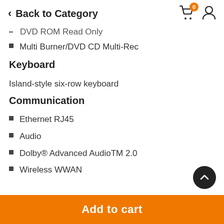Back to Category
DVD ROM Read Only
Multi Burner/DVD CD Multi-Rec
Keyboard
Island-style six-row keyboard
Communication
Ethernet RJ45
Audio
Dolby® Advanced AudioTM 2.0
Wireless WWAN
Add to cart